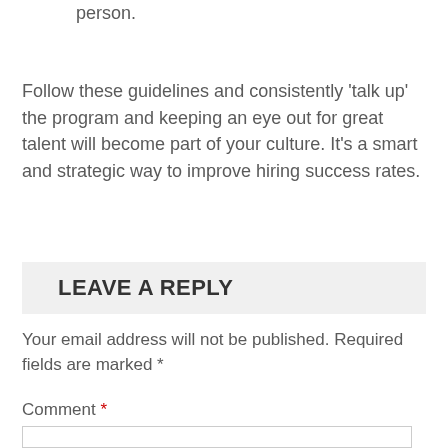person.
Follow these guidelines and consistently ‘talk up’ the program and keeping an eye out for great talent will become part of your culture. It’s a smart and strategic way to improve hiring success rates.
LEAVE A REPLY
Your email address will not be published. Required fields are marked *
Comment *